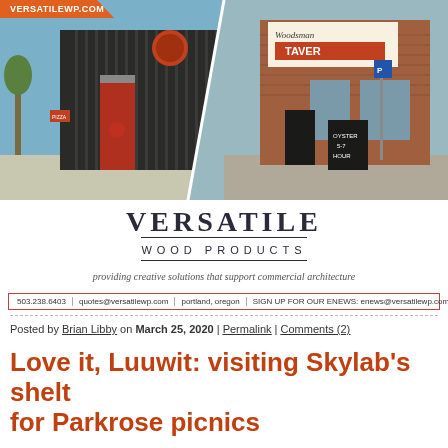[Figure (photo): Two exterior building photos side by side: left shows a modern dark building with vertical slats and a red door, right shows a brick building with 'Woodsman Tavern' sign and an oyster hour sign]
VERSATILE
WOOD PRODUCTS
providing creative solutions that support commercial architecture
503.238.6403 | quotes@versatilewp.com | portland, oregon | SIGN UP FOR OUR ENEWS: enews@versatilewp.com
Posted by Brian Libby on March 25, 2020 | Permalink | Comments (2)
Love it, Luuwit: visiting Skylab's shelt for Parkrose picnics